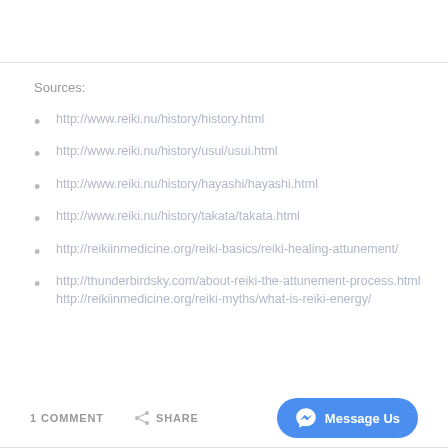Sources:
http://www.reiki.nu/history/history.html
http://www.reiki.nu/history/usui/usui.html
http://www.reiki.nu/history/hayashi/hayashi.html
http://www.reiki.nu/history/takata/takata.html
http://reikiinmedicine.org/reiki-basics/reiki-healing-attunement/
http://thunderbirdsky.com/about-reiki-the-attunement-process.html http://reikiinmedicine.org/reiki-myths/what-is-reiki-energy/
1 COMMENT   SHARE   Message Us